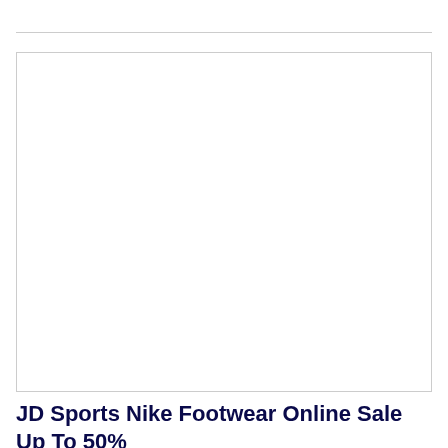[Figure (photo): Empty white image placeholder box with a light gray border]
JD Sports Nike Footwear Online Sale Up To 50% OFF (10 June 2020 – 30 June 2020)